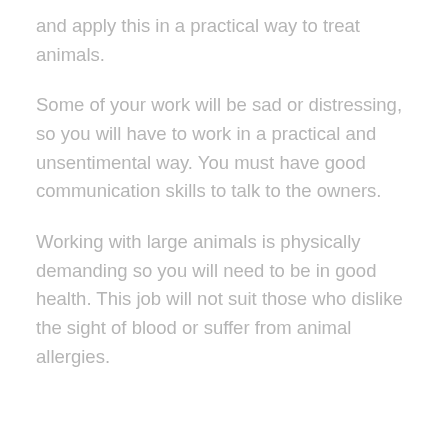and apply this in a practical way to treat animals.
Some of your work will be sad or distressing, so you will have to work in a practical and unsentimental way. You must have good communication skills to talk to the owners.
Working with large animals is physically demanding so you will need to be in good health. This job will not suit those who dislike the sight of blood or suffer from animal allergies.